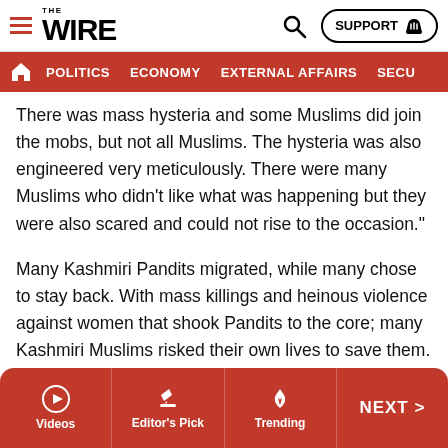THE WIRE — navigation header with logo, search, and SUPPORT button
POLITICS | ECONOMY | EXTERNAL AFFAIRS | SECU...
There was mass hysteria and some Muslims did join the mobs, but not all Muslims. The hysteria was also engineered very meticulously. There were many Muslims who didn't like what was happening but they were also scared and could not rise to the occasion."
Many Kashmiri Pandits migrated, while many chose to stay back. With mass killings and heinous violence against women that shook Pandits to the core; many Kashmiri Muslims risked their own lives to save them.
Also read: The Mindset of Certain Kashmiri Pandits
Videos | Editor's Pick | Trending | NEXT >